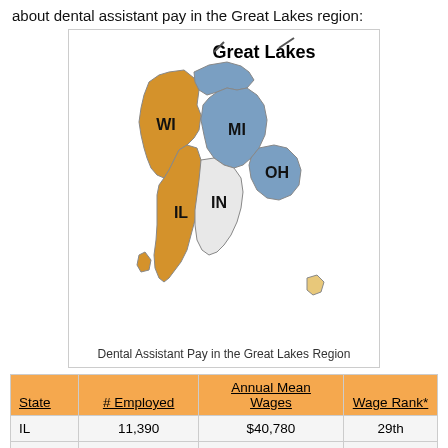about dental assistant pay in the Great Lakes region:
[Figure (map): Map of the Great Lakes region showing states WI, MI, IL, IN, OH colored in gold/blue/white to indicate dental assistant pay regions. Title: Great Lakes]
Dental Assistant Pay in the Great Lakes Region
| State | # Employed | Annual Mean Wages | Wage Rank* |
| --- | --- | --- | --- |
| IL | 11,390 | $40,780 | 29th |
| IN | 5,080 | $42,600 | 22nd |